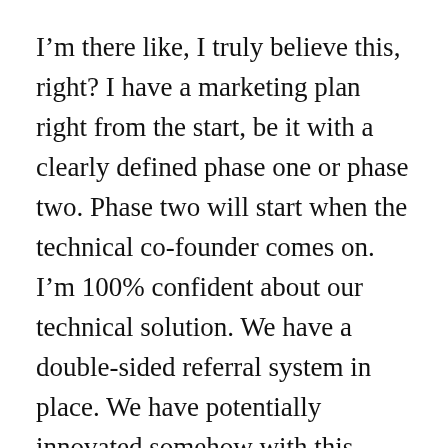I'm there like, I truly believe this, right? I have a marketing plan right from the start, be it with a clearly defined phase one or phase two. Phase two will start when the technical co-founder comes on. I'm 100% confident about our technical solution. We have a double-sided referral system in place. We have potentially innovated somehow with this whole outsourcing admin virtual assistant thing and tested that. Then, I'll start phase two.
Ryan: So what do you mean “innovated